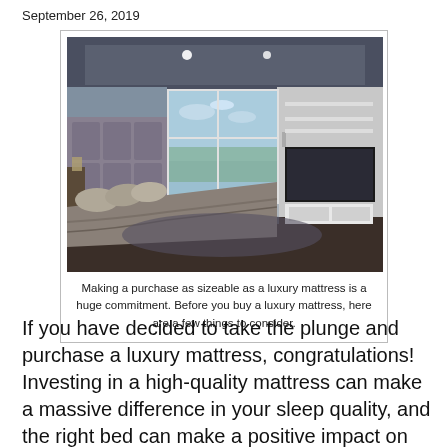September 26, 2019
[Figure (photo): A modern luxury bedroom with a large bed with grey upholstered headboard, floor-to-ceiling windows with city view, and a wall-mounted TV unit on the right.]
Making a purchase as sizeable as a luxury mattress is a huge commitment. Before you buy a luxury mattress, here are a few things to consider.
If you have decided to take the plunge and purchase a luxury mattress, congratulations! Investing in a high-quality mattress can make a massive difference in your sleep quality, and the right bed can make a positive impact on your life for many years to come. However, making such a sizeable